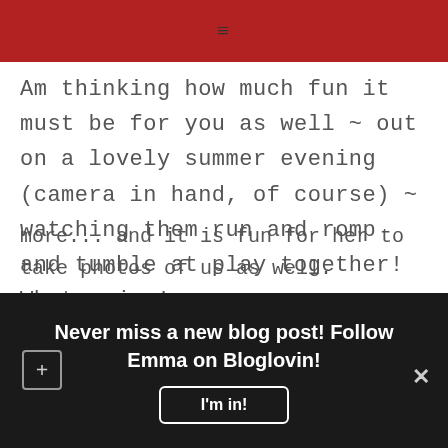≡
Am thinking how much fun it must be for you as well ~ out on a lovely summer evening (camera in hand, of course) ~ watching them run and romp and tumble at play together! What a joy!
[Figure (logo): My GBGV Life circular avatar logo with cartoon dog wearing beret and glasses]
MY GBGV LIFE SAYS
JUNE 26, 2022 AT 19:31
more... and it is fun for her to take photos of us as well.
Never miss a new blog post! Follow Emma on Bloglovin!
I'm in!